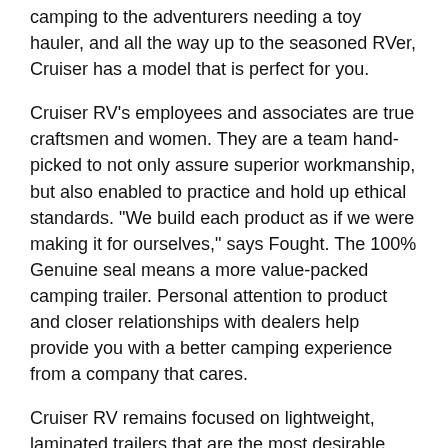camping to the adventurers needing a toy hauler, and all the way up to the seasoned RVer, Cruiser has a model that is perfect for you.
Cruiser RV's employees and associates are true craftsmen and women. They are a team hand-picked to not only assure superior workmanship, but also enabled to practice and hold up ethical standards. "We build each product as if we were making it for ourselves," says Fought. The 100% Genuine seal means a more value-packed camping trailer. Personal attention to product and closer relationships with dealers help provide you with a better camping experience from a company that cares.
Cruiser RV remains focused on lightweight, laminated trailers that are the most desirable, reputable and best selling available today. Lighter construction means more trailer for the same towing power from your truck. Many models are half-ton towable, making them a great choice to go with America's favorite size of pickup truck.